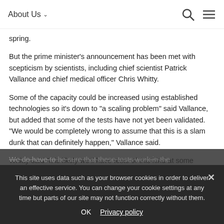About Us
spring.
But the prime minister’s announcement has been met with scepticism by scientists, including chief scientist Patrick Vallance and chief medical officer Chris Whitty.
Some of the capacity could be increased using established technologies so it’s down to “a scaling problem” said Vallance, but added that some of the tests have not yet been validated. “We would be completely wrong to assume that this is a slam dunk that can definitely happen,” Vallance said.
Whitty said “it is likely we’ll have tests of this kind at some
We do have to be sure that these tests work in the...
This site uses data such as your browser cookies in order to deliver an effective service. You can change your cookie settings at any time but parts of our site may not function correctly without them.
OK
Privacy policy